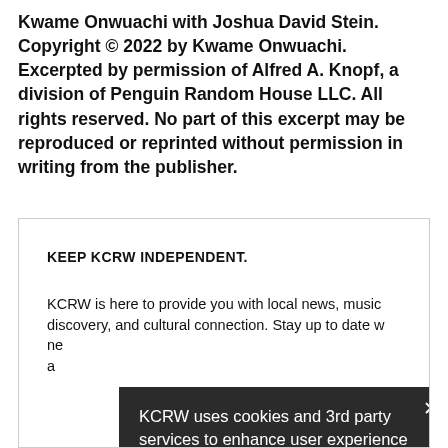Kwame Onwuachi with Joshua David Stein. Copyright © 2022 by Kwame Onwuachi. Excerpted by permission of Alfred A. Knopf, a division of Penguin Random House LLC. All rights reserved. No part of this excerpt may be reproduced or reprinted without permission in writing from the publisher.
KEEP KCRW INDEPENDENT.
KCRW is here to provide you with local news, music discovery, and cultural connection. Stay up to date w ne a
[Figure (screenshot): Cookie consent popup with dark background. Text: 'KCRW uses cookies and 3rd party services to enhance user experience Learn more'. Buttons: 'OPT-OUT' and 'ACCEPT' (red). Close button X in top right. 'Your Privacy' text at bottom right.]